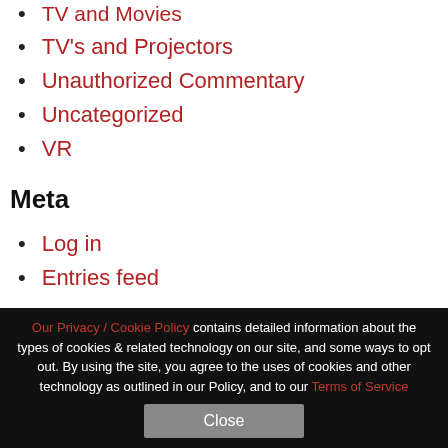TV and Movies
TV's and Projectors
Unauthorized Commentary
Uncategorized
VR
Meta
Log in
Entries feed
Our Privacy / Cookie Policy contains detailed information about the types of cookies & related technology on our site, and some ways to opt out. By using the site, you agree to the uses of cookies and other technology as outlined in our Policy, and to our Terms of Service
Close